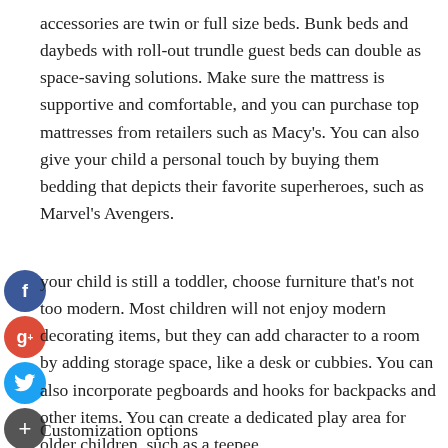accessories are twin or full size beds. Bunk beds and daybeds with roll-out trundle guest beds can double as space-saving solutions. Make sure the mattress is supportive and comfortable, and you can purchase top mattresses from retailers such as Macy's. You can also give your child a personal touch by buying them bedding that depicts their favorite superheroes, such as Marvel's Avengers.
If your child is still a toddler, choose furniture that's not too modern. Most children will not enjoy modern decorating items, but they can add character to a room by adding storage space, like a desk or cubbies. You can also incorporate pegboards and hooks for backpacks and other items. You can create a dedicated play area for older children, such as a teepee.
Customization options